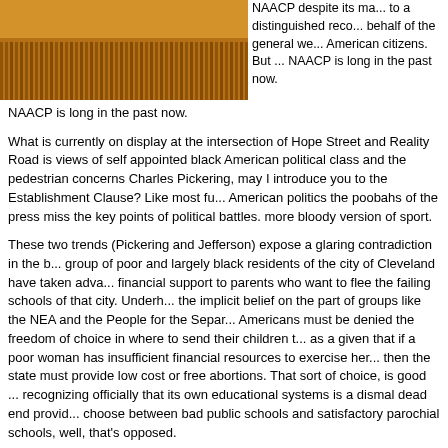[Figure (photo): Photo of wooden furniture or paneling with vertical slats, warm brown tones]
NAACP despite its ma... to a distinguished reco... behalf of the general we... American citizens. But ... NAACP is long in the past now.
What is currently on display at the intersection of Hope Street and Reality Road is views of self appointed black American political class and the pedestrian concerns Charles Pickering, may I introduce you to the Establishment Clause? Like most fu... American politics the poobahs of the press miss the key points of political battles. more bloody version of sport.
These two trends (Pickering and Jefferson) expose a glaring contradiction in the b... group of poor and largely black residents of the city of Cleveland have taken adva... financial support to parents who want to flee the failing schools of that city. Underh... the implicit belief on the part of groups like the NEA and the People for the Separ... Americans must be denied the freedom of choice in where to send their children t... as a given that if a poor woman has insufficient financial resources to exercise her... then the state must provide low cost or free abortions. That sort of choice, is good ... recognizing officially that its own educational systems is a dismal dead end provid... choose between bad public schools and satisfactory parochial schools, well, that's opposed.
Where does the NAACP stand on this? George Bush framed terrorism as a choice ... terrorists". The NAACP has framed the choice thusly: you can be with the schools